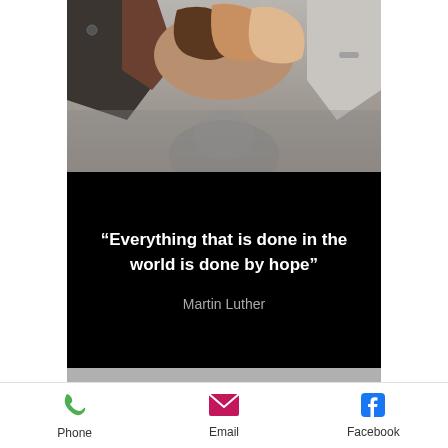[Figure (photo): Multiple hands coming together in a high-five gesture, diverse group of people, wearing formal and casual clothing, photographed from below against a gray background.]
“Everything that is done in the world is done by hope”
Martin Luther
Phone
Email
Facebook